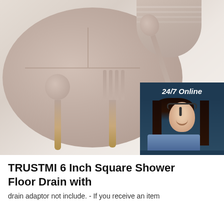[Figure (photo): Product photo showing a divided silicone plate/dish with matching spoon and fork with wooden handles, and a cup/bowl in background. Also shows a 24/7 online chat widget overlay with a customer service representative photo, 'Click here for free chat!' text, and an orange QUOTATION button.]
TRUSTMI 6 Inch Square Shower Floor Drain with
drain adaptor not include. - If you receive an item